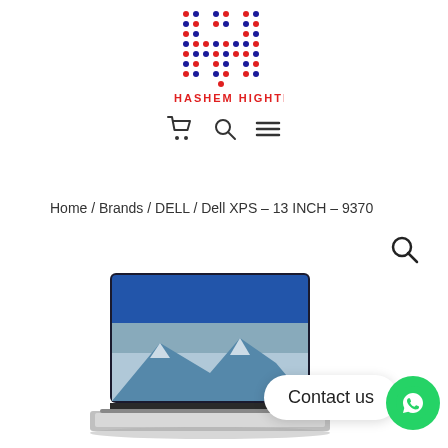[Figure (logo): Hashem Hightech logo: stylized H made of red and blue dots, with brand name HASHEM HIGHTECH in red below, plus cart, search, and hamburger menu icons]
Home / Brands / DELL / Dell XPS – 13 INCH – 9370
[Figure (screenshot): Search magnifying glass icon in top right area]
[Figure (photo): Dell XPS 13 INCH 9370 laptop partially visible at bottom of page, open with scenic wallpaper on screen]
Contact us